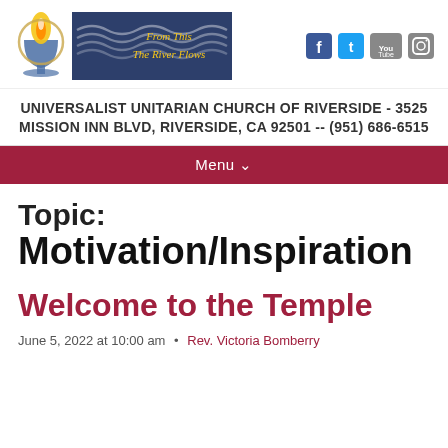[Figure (logo): Universalist Unitarian Church flame chalice logo and 'From This The River Flows' banner graphic, with social media icons (Facebook, Twitter, YouTube, Instagram)]
UNIVERSALIST UNITARIAN CHURCH OF RIVERSIDE - 3525 MISSION INN BLVD, RIVERSIDE, CA 92501 -- (951) 686-6515
Menu
Topic: Motivation/Inspiration
Welcome to the Temple
June 5, 2022 at 10:00 am • Rev. Victoria Bomberry